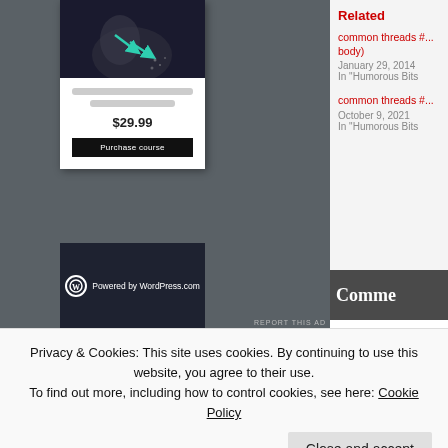[Figure (screenshot): WordPress.com online course ad card showing a dark photo with teal arrows, two grey placeholder text lines, price $29.99, and a black 'Purchase course' button, with dark navy footer showing WordPress.com logo]
REPORT THIS AD
Related
common threads #... body)
January 29, 2014
In "Humorous Bits
common threads #...
October 9, 2021
In "Humorous Bits
Comme
Privacy & Cookies: This site uses cookies. By continuing to use this website, you agree to their use.
To find out more, including how to control cookies, see here: Cookie Policy
Close and accept